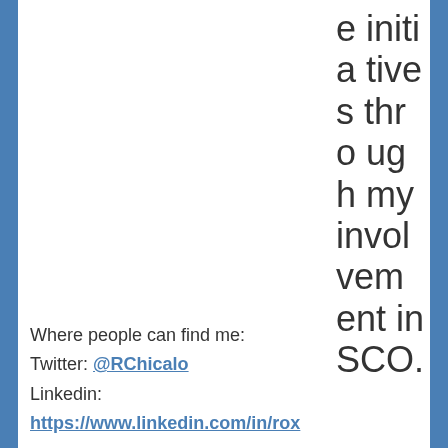e initiatives through my involvement in SCO.
Where people can find me:
Twitter: @RChicalo
Linkedin:
https://www.linkedin.com/in/rox